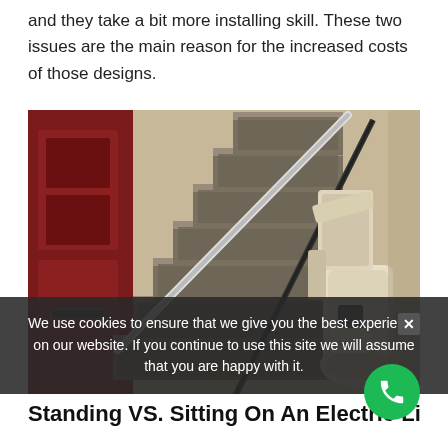and they take a bit more installing skill. These two issues are the main reason for the increased costs of those designs.
[Figure (photo): A stairlift installed on a residential staircase. The staircase has patterned carpet and a red wooden door/wall on the left. The stairlift chair/seat mechanism is folded up on the right rail, showing cream-colored seat and footrest hardware.]
We use cookies to ensure that we give you the best experience on our website. If you continue to use this site we will assume that you are happy with it.
Standing VS. Sitting On An Electric Lift Stair...